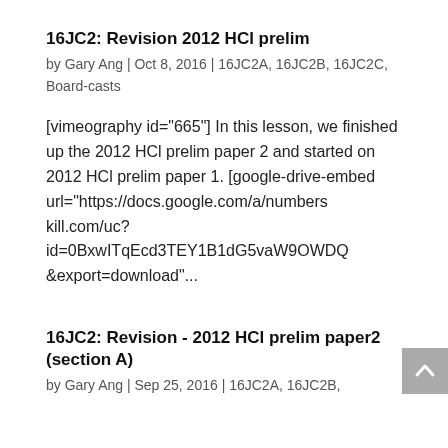16JC2: Revision 2012 HCl prelim
by Gary Ang | Oct 8, 2016 | 16JC2A, 16JC2B, 16JC2C, Board-casts
[vimeography id="665"] In this lesson, we finished up the 2012 HCl prelim paper 2 and started on 2012 HCl prelim paper 1. [google-drive-embed url="https://docs.google.com/a/numberskill.com/uc?id=0BxwITqEcd3TEY1B1dG5vaW9OWDQv&export=download"...
16JC2: Revision - 2012 HCl prelim paper2 (section A)
by Gary Ang | Sep 25, 2016 | 16JC2A, 16JC2B,